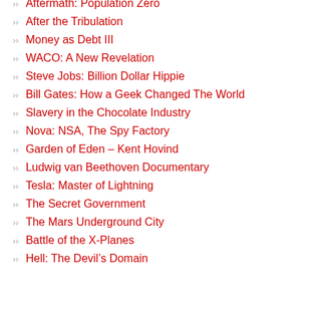Aftermath: Population Zero
After the Tribulation
Money as Debt III
WACO: A New Revelation
Steve Jobs: Billion Dollar Hippie
Bill Gates: How a Geek Changed The World
Slavery in the Chocolate Industry
Nova: NSA, The Spy Factory
Garden of Eden – Kent Hovind
Ludwig van Beethoven Documentary
Tesla: Master of Lightning
The Secret Government
The Mars Underground City
Battle of the X-Planes
Hell: The Devil's Domain